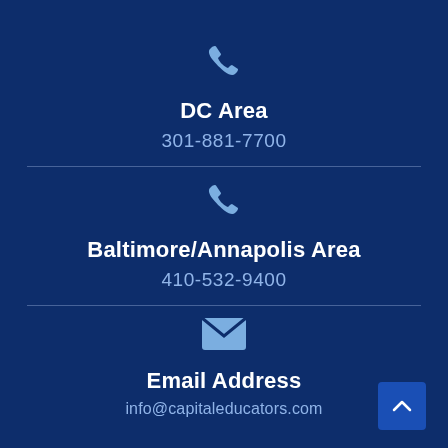[Figure (illustration): Phone handset icon in light blue]
DC Area
301-881-7700
[Figure (illustration): Phone handset icon in light blue]
Baltimore/Annapolis Area
410-532-9400
[Figure (illustration): Envelope/email icon in light blue]
Email Address
info@capitaleducators.com